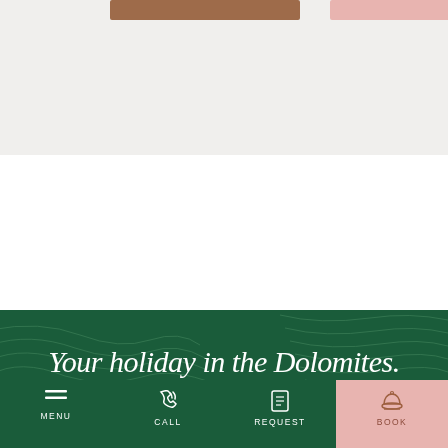[Figure (screenshot): Top section with light gray background showing two colored button bars at the top — a brown/tan bar on the left and a pink bar on the right]
[Figure (infographic): Dark green section with topographic contour line pattern overlay, containing holiday booking interface for Dolomites hotel with title, period selector showing 13.09 - 20.09, email icon, Adults/Children labels, and bottom navigation bar with Menu, Call, Request, Book buttons]
Your holiday in the Dolomites.
PERIOD
13.09 - 20.09
ADULTS
CHILDREN
MENU
CALL
REQUEST
BOOK